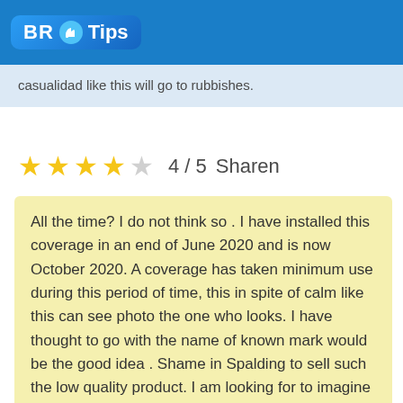BR Tips
casualidad like this will go to rubbishes.
4 / 5  Sharen
All the time? I do not think so . I have installed this coverage in an end of June 2020 and is now October 2020. A coverage has taken minimum use during this period of time, this in spite of calm like this can see photo the one who looks. I have thought to go with the name of known mark would be the good idea . Shame in Spalding to sell such the low quality product. I am looking for to imagine quell'hoe been like this to take my money behind